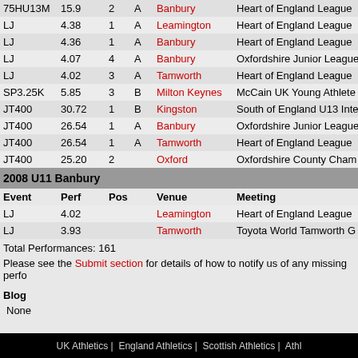| Event | Perf | Pos |  | Venue | Meeting |
| --- | --- | --- | --- | --- | --- |
| 75HU13M | 15.9 | 2 | A | Banbury | Heart of England League |
| LJ | 4.38 | 1 | A | Leamington | Heart of England League |
| LJ | 4.36 | 1 | A | Banbury | Heart of England League |
| LJ | 4.07 | 4 | A | Banbury | Oxfordshire Junior League |
| LJ | 4.02 | 3 | A | Tamworth | Heart of England League |
| SP3.25K | 5.85 | 3 | B | Milton Keynes | McCain UK Young Athlete |
| JT400 | 30.72 | 1 | B | Kingston | South of England U13 Inte |
| JT400 | 26.54 | 1 | A | Banbury | Oxfordshire Junior League |
| JT400 | 26.54 | 1 | A | Tamworth | Heart of England League |
| JT400 | 25.20 | 2 |  | Oxford | Oxfordshire County Cham |
2008 U11 Banbury
| Event | Perf | Pos |  | Venue | Meeting |
| --- | --- | --- | --- | --- | --- |
| LJ | 4.02 |  |  | Leamington | Heart of England League |
| LJ | 3.93 |  |  | Tamworth | Toyota World Tamworth G |
Total Performances: 161
Please see the Submit section for details of how to notify us of any missing perfo
Blog
None
UK Athletics | England Athletics | Scottish Athletics | Athl